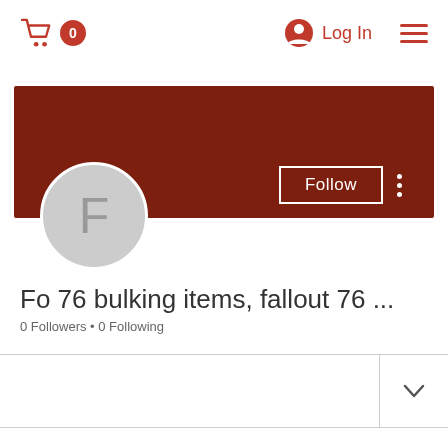[Figure (screenshot): Navigation header with shopping cart icon showing 0 items, user icon with Log In text, and hamburger menu icon, all in red/dark-red color]
[Figure (screenshot): Profile page section with dark red banner, circular avatar placeholder with letter F, Follow button with white border, three-dot menu icon]
Fo 76 bulking items, fallout 76 ...
0 Followers • 0 Following
[Figure (screenshot): Bottom section with horizontal divider lines and a right-side panel containing a chevron/down arrow]